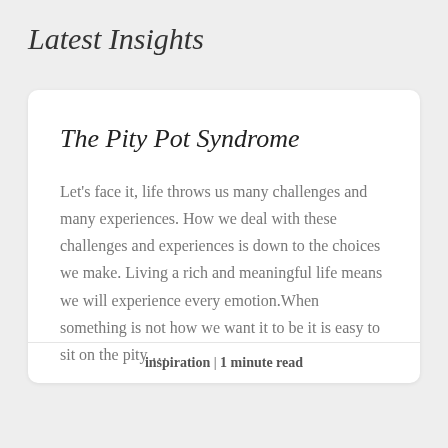Latest Insights
The Pity Pot Syndrome
Let's face it, life throws us many challenges and many experiences. How we deal with these challenges and experiences is down to the choices we make. Living a rich and meaningful life means we will experience every emotion.When something is not how we want it to be it is easy to sit on the pity …
Read More »
inspiration | 1 minute read